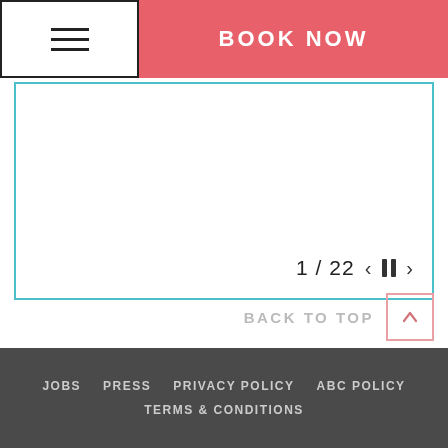BOOK NOW
[Figure (screenshot): Slideshow/carousel area with teal border, showing slide 1 of 22 with prev/pause/next controls]
BACK TO TOP
JOBS  PRESS  PRIVACY POLICY  ABC POLICY  TERMS & CONDITIONS